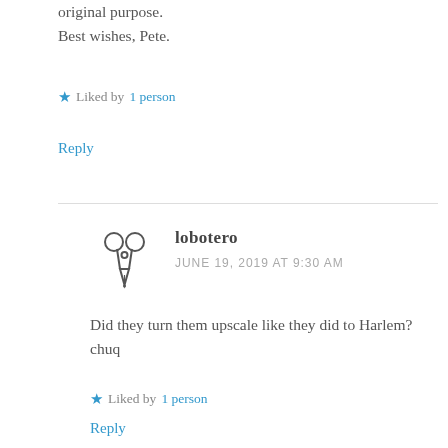original purpose.
Best wishes, Pete.
★ Liked by 1 person
Reply
lobotero
JUNE 19, 2019 AT 9:30 AM
Did they turn them upscale like they did to Harlem? chuq
★ Liked by 1 person
Reply